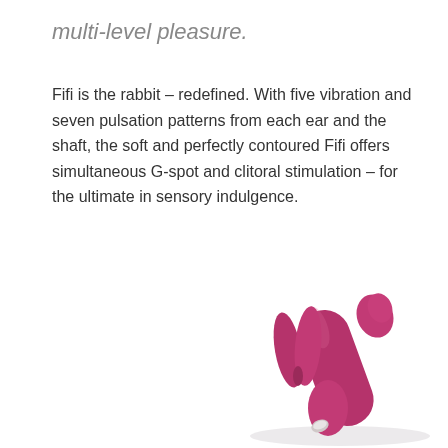multi-level pleasure.
Fifi is the rabbit – redefined. With five vibration and seven pulsation patterns from each ear and the shaft, the soft and perfectly contoured Fifi offers simultaneous G-spot and clitoral stimulation – for the ultimate in sensory indulgence.
[Figure (photo): A magenta/purple rabbit-style vibrator product photo on white background, showing two ear prongs at the front and an elongated shaft, with a silver button at the base.]